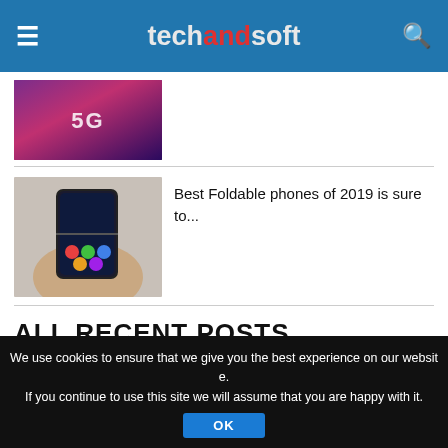techandsoft
[Figure (photo): A 5G smartphone with purple/pink glowing background]
[Figure (photo): A foldable smartphone held in a hand]
Best Foldable phones of 2019 is sure to...
ALL RECENT POSTS
[Figure (photo): A partially visible article thumbnail image strip]
We use cookies to ensure that we give you the best experience on our website. If you continue to use this site we will assume that you are happy with it.